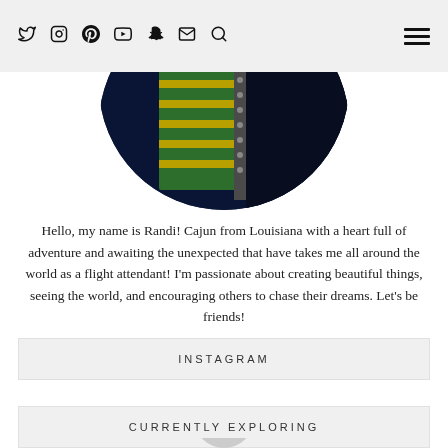Social media icons: Twitter, Instagram, Pinterest, YouTube, Snapchat, Email, Search | Hamburger menu
[Figure (photo): Circular cropped photo showing green and yellow staircase railing interior, dark background]
Hello, my name is Randi! Cajun from Louisiana with a heart full of adventure and awaiting the unexpected that have takes me all around the world as a flight attendant! I'm passionate about creating beautiful things, seeing the world, and encouraging others to chase their dreams. Let's be friends!
INSTAGRAM
CURRENTLY EXPLORING